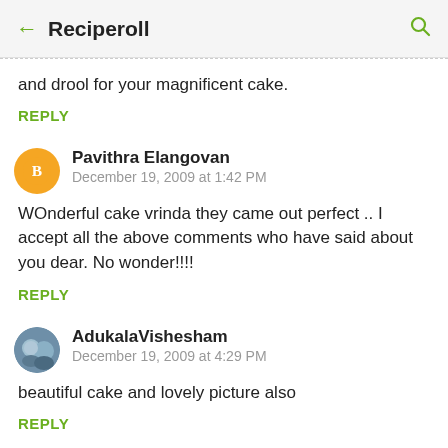Reciperoll
and drool for your magnificent cake.
REPLY
Pavithra Elangovan
December 19, 2009 at 1:42 PM
WOnderful cake vrinda they came out perfect .. I accept all the above comments who have said about you dear. No wonder!!!!
REPLY
AdukalaVishesham
December 19, 2009 at 4:29 PM
beautiful cake and lovely picture also
REPLY
jayashree  December 19, 2009 at 9:19 PM